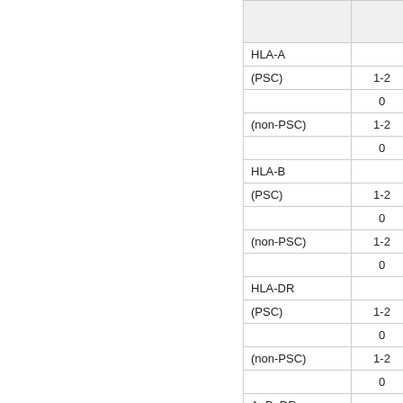|  |  |  |
| --- | --- | --- |
| HLA-A |  |  |
| (PSC) | 1-2 |  |
|  | 0 |  |
| (non-PSC) | 1-2 |  |
|  | 0 |  |
| HLA-B |  |  |
| (PSC) | 1-2 |  |
|  | 0 |  |
| (non-PSC) | 1-2 |  |
|  | 0 |  |
| HLA-DR |  |  |
| (PSC) | 1-2 |  |
|  | 0 |  |
| (non-PSC) | 1-2 |  |
|  | 0 |  |
| A, B, DR |  |  |